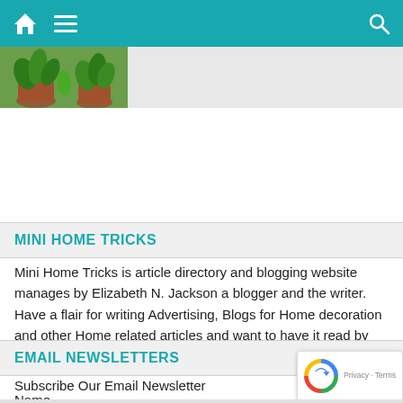Mini Home Tricks website navigation bar
[Figure (photo): Partial photo of plants/home decoration scene]
MINI HOME TRICKS
Mini Home Tricks is article directory and blogging website manages by Elizabeth N. Jackson a blogger and the writer. Have a flair for writing Advertising, Blogs for Home decoration and other Home related articles and want to have it read by readers who share the same passion and interests.
EMAIL NEWSLETTERS
Subscribe Our Email Newsletter
Name